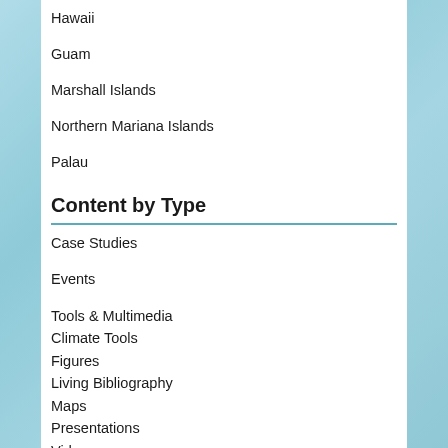Hawaii
Guam
Marshall Islands
Northern Mariana Islands
Palau
Content by Type
Case Studies
Events
Tools & Multimedia
Climate Tools
Figures
Living Bibliography
Maps
Presentations
Videos
Publications